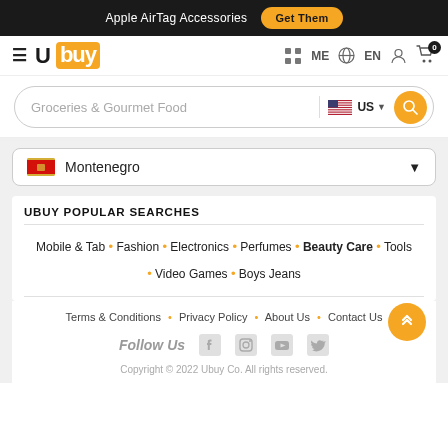Apple AirTag Accessories  Get Them
[Figure (logo): Ubuy logo with hamburger menu icon, navigation icons: ME, EN, user, cart with badge 0]
[Figure (screenshot): Search bar with text 'Groceries & Gourmet Food', US flag selector, and orange search button]
Montenegro (country selector dropdown)
UBUY POPULAR SEARCHES
Mobile & Tab • Fashion • Electronics • Perfumes • Beauty Care • Tools • Video Games • Boys Jeans
Terms & Conditions • Privacy Policy • About Us • Contact Us
Follow Us
Copyright © 2022 Ubuy Co. All rights reserved.